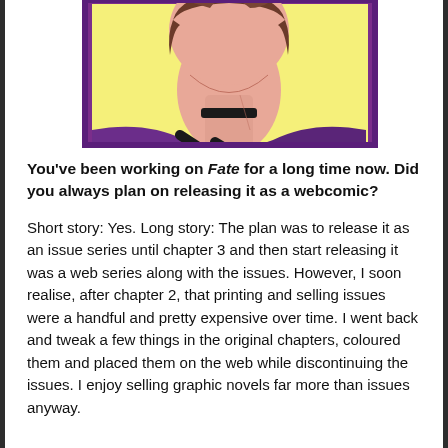[Figure (illustration): Comic-style illustration of a character's face and upper body with short brown hair, pink skin tone, black choker necklace, purple and black top, against a yellow background with a purple border frame. Only the top portion (chin/neck area up) is visible.]
You've been working on Fate for a long time now. Did you always plan on releasing it as a webcomic?
Short story: Yes. Long story: The plan was to release it as an issue series until chapter 3 and then start releasing it was a web series along with the issues. However, I soon realise, after chapter 2, that printing and selling issues were a handful and pretty expensive over time. I went back and tweak a few things in the original chapters, coloured them and placed them on the web while discontinuing the issues. I enjoy selling graphic novels far more than issues anyway.